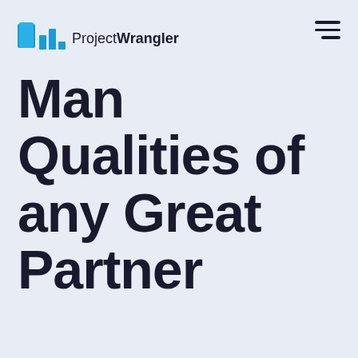ProjectWrangler
Man Qualities of any Great Partner